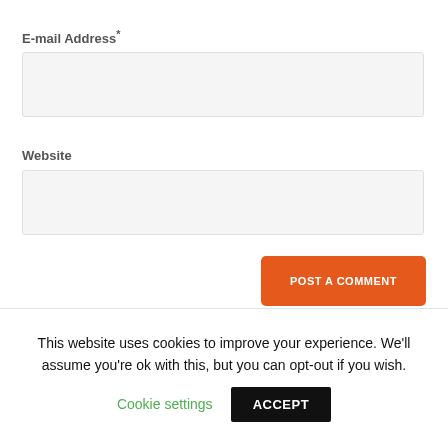E-mail Address*
[Figure (screenshot): Empty text input field for E-mail Address]
Website
[Figure (screenshot): Empty text input field for Website]
POST A COMMENT
This website uses cookies to improve your experience. We'll assume you're ok with this, but you can opt-out if you wish.
Cookie settings
ACCEPT